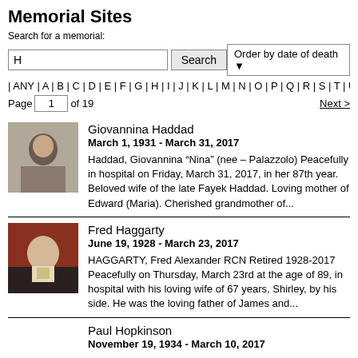Memorial Sites
Search for a memorial:
H [search input] Search | Order by date of death [dropdown]
| ANY | A | B | C | D | E | F | G | H | I | J | K | L | M | N | O | P | Q | R | S | T | U | V | W
Page 1 of 19   Next >
Giovannina Haddad
March 1, 1931 - March 31, 2017
Haddad, Giovannina “Nina” (nee – Palazzolo) Peacefully in hospital on Friday, March 31, 2017, in her 87th year. Beloved wife of the late Fayek Haddad. Loving mother of Edward (Maria). Cherished grandmother of...
Fred Haggarty
June 19, 1928 - March 23, 2017
HAGGARTY, Fred Alexander RCN Retired 1928-2017 Peacefully on Thursday, March 23rd at the age of 89, in hospital with his loving wife of 67 years, Shirley, by his side. He was the loving father of James and...
Paul Hopkinson
November 19, 1934 - March 10, 2017